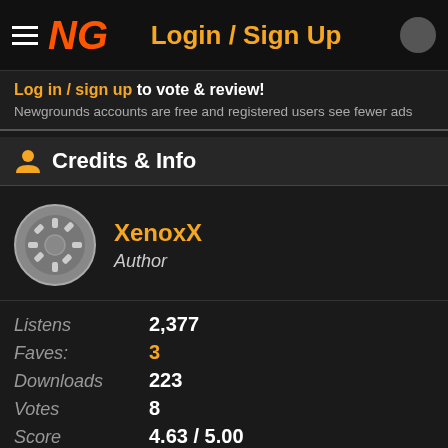Login / Sign Up
Log in / sign up to vote & review!
Newgrounds accounts are free and registered users see fewer ads
Credits & Info
XenoxX
Author
| Label | Value |
| --- | --- |
| Listens | 2,377 |
| Faves: | 3 |
| Downloads | 223 |
| Votes | 8 |
| Score | 4.63 / 5.00 |